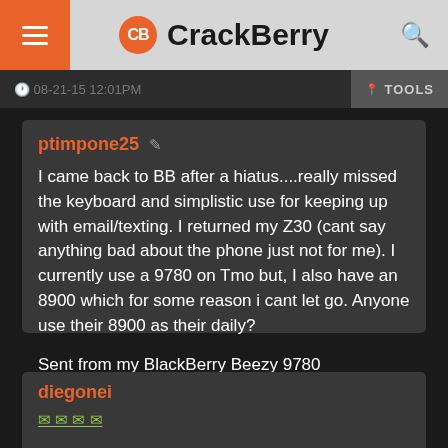CrackBerry
08-21-15 12:01PM  TOOLS
ptimpone25
I came back to BB after a hiatus....really missed the keyboard and simplistic use for keeping up with email/texting. I returned my Z30 (cant say anything bad about the phone just not for me). I currently use a 9780 on Tmo but, I also have an 8900 which for some reason i cant let go. Anyone use their 8900 as their daily?

Sent from my BlackBerry Beezy 9780
01-09-15 02:30 PM
diegonei